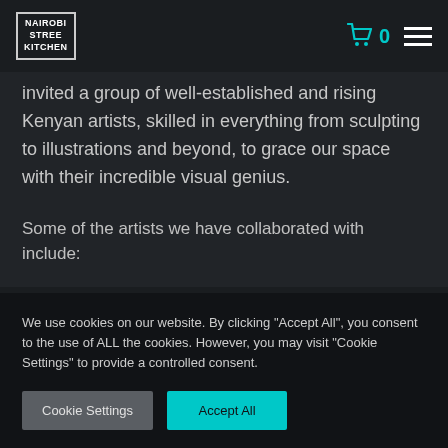NAIROBI STREET KITCHEN
invited a group of well-established and rising Kenyan artists, skilled in everything from sculpting to illustrations and beyond, to grace our space with their incredible visual genius.
Some of the artists we have collaborated with include:
We use cookies on our website. By clicking "Accept All", you consent to the use of ALL the cookies. However, you may visit "Cookie Settings" to provide a controlled consent.